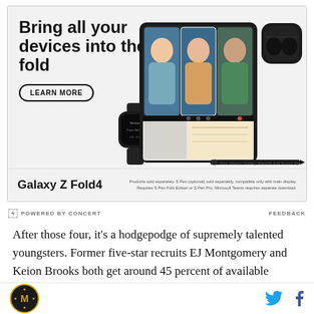[Figure (illustration): Samsung Galaxy Z Fold4 advertisement banner showing the headline 'Bring all your devices into the fold' with a LEARN MORE button, and product images of a Galaxy Watch, Galaxy Z Fold4 phone showing a video call, Galaxy Buds2 Pro, and S Pen. Bottom bar shows 'Galaxy Z Fold4' branding and disclaimer text. Also shown: Galaxy Watch6 and Buds2 Pro.]
Also shown: Galaxy Watch6 and Buds2 Pro
Products sold separately. S Pen (optional) sold separately, compatible only with main display. Requires S Pen Fold Edition or S Pen Pro. Microsoft Teams requires separate download.
POWERED BY CONCERT    FEEDBACK
After those four, it's a hodgepodge of supremely talented youngsters. Former five-star recruits EJ Montgomery and Keion Brooks both get around 45 percent of available minutes. Montgomery is the more
[Figure (logo): Michigan Wolverines logo circle]
[Figure (illustration): Twitter bird icon and Facebook 'f' icon social sharing buttons]